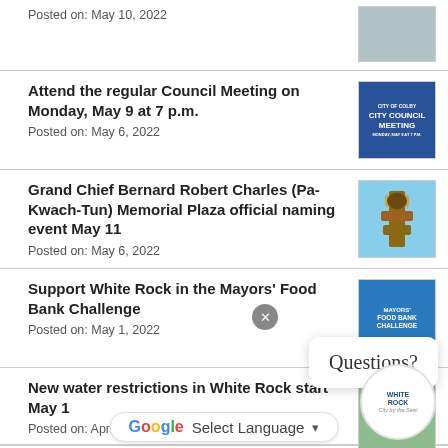Posted on: May 10, 2022
Attend the regular Council Meeting on Monday, May 9 at 7 p.m.
Posted on: May 6, 2022
Grand Chief Bernard Robert Charles (Pa-Kwach-Tun) Memorial Plaza official naming event May 11
Posted on: May 6, 2022
Support White Rock in the Mayors' Food Bank Challenge
Posted on: May 1, 2022
New water restrictions in White Rock start May 1
Posted on: April 27, 2022
Council Meeting Summary – April 26, 2022